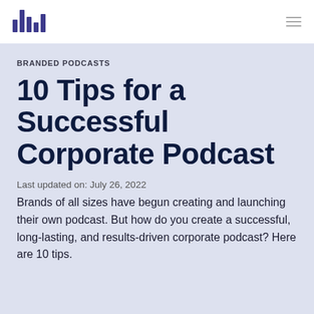[Figure (logo): Bar chart style logo icon in dark purple/indigo, resembling audio waveform bars]
10 Tips for a Successful Corporate Podcast
BRANDED PODCASTS
Last updated on: July 26, 2022
Brands of all sizes have begun creating and launching their own podcast. But how do you create a successful, long-lasting, and results-driven corporate podcast? Here are 10 tips.